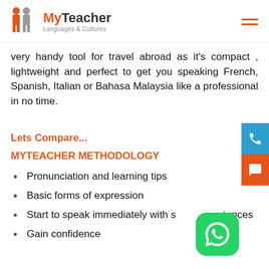MyTeacher Languages & Cultures
very handy tool for travel abroad as it's compact , lightweight and perfect to get you speaking French, Spanish, Italian or Bahasa Malaysia like a professional in no time.
Lets Compare...
MYTEACHER METHODOLOGY
Pronunciation and learning tips
Basic forms of expression
Start to speak immediately with sentences
Gain confidence